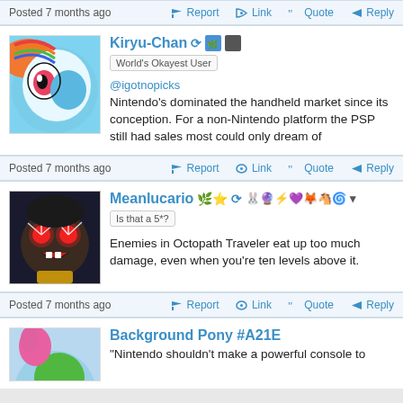Posted 7 months ago  Report  Link  Quote  Reply
[Figure (photo): Avatar of Kiryu-Chan: My Little Pony Rainbow Dash cartoon illustration]
Kiryu-Chan  World's Okayest User  @igotnopicks Nintendo's dominated the handheld market since its conception. For a non-Nintendo platform the PSP still had sales most could only dream of
Posted 7 months ago  Report  Link  Quote  Reply
[Figure (photo): Avatar of Meanlucario: anime chibi character with glowing red eyes]
Meanlucario  Is that a 5*?  Enemies in Octopath Traveler eat up too much damage, even when you're ten levels above it.
Posted 7 months ago  Report  Link  Quote  Reply
[Figure (photo): Avatar of Background Pony #A21E: cartoon pony illustration]
Background Pony #A21E  "Nintendo shouldn't make a powerful console to